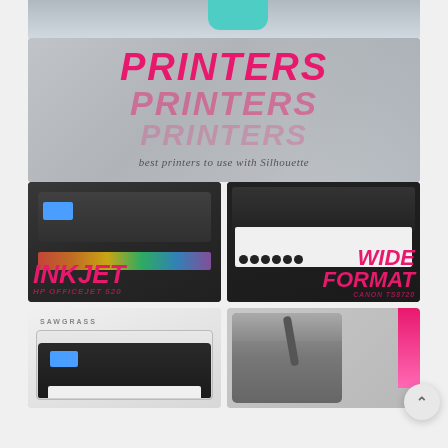[Figure (photo): Partial top photo showing printer equipment, cropped at top edge]
[Figure (infographic): Banner image with text 'PRINTERS' repeated three times in decreasing opacity (hot pink colors), with subtitle 'best printers to use with Silhouette', overlaid on blurred printer photograph background]
[Figure (photo): INKJET printer photo showing HP OfficeJet 520 with colorful print output, labeled 'INKJET' in hot pink bold italic text with 'HP OFFICEJET 520' subtitle]
[Figure (photo): WIDE FORMAT printer photo showing Canon printer with black and white sticker sheet output, labeled 'WIDE FORMAT' in hot pink bold italic text with 'CANON TS8720' subtitle]
[Figure (photo): Sawgrass sublimation printer photo, white machine with dark body panel and blue screen display]
[Figure (photo): Heat press machine photo with pink accent on right side]